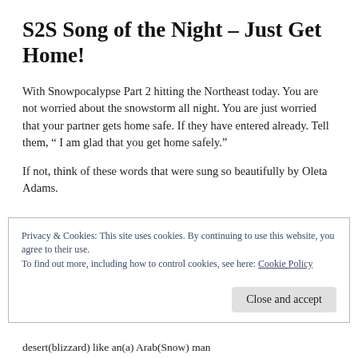S2S Song of the Night – Just Get Home!
With Snowpocalypse Part 2 hitting the Northeast today. You are not worried about the snowstorm all night. You are just worried that your partner gets home safe. If they have entered already. Tell them, “ I am glad that you get home safely.”
If not, think of these words that were sung so beautifully by Oleta Adams.
Privacy & Cookies: This site uses cookies. By continuing to use this website, you agree to their use.
To find out more, including how to control cookies, see here: Cookie Policy
Close and accept
desert(blizzard) like an(a) Arab(Snow) man